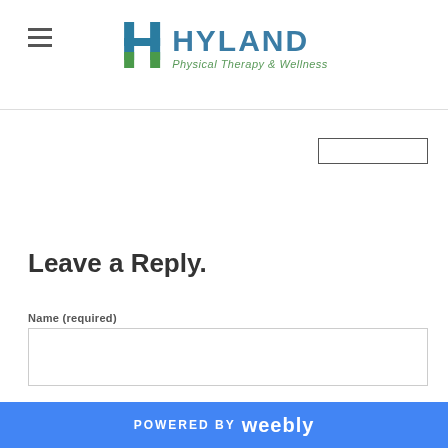HYLAND Physical Therapy & Wellness
Leave a Reply.
Name (required)
Email (not published)
POWERED BY weebly